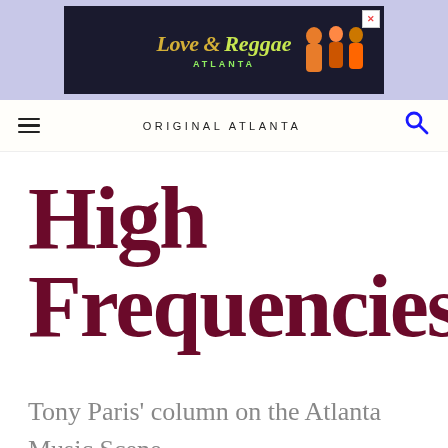[Figure (illustration): Advertisement banner for 'Love & Reggae Atlanta' TV show with colorful text on dark background, surrounded by a light purple/lavender background. An X close button is visible in the top right corner of the ad.]
ORIGINAL ATLANTA
High Frequencies
Tony Paris' column on the Atlanta Music Scene.